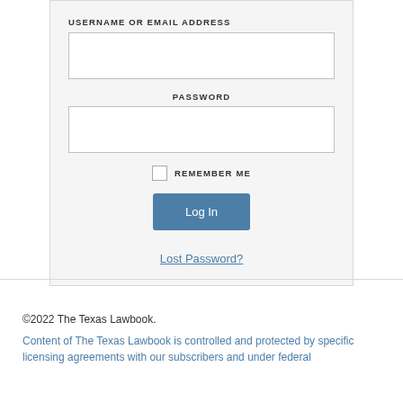USERNAME OR EMAIL ADDRESS
PASSWORD
REMEMBER ME
Log In
Lost Password?
©2022 The Texas Lawbook.
Content of The Texas Lawbook is controlled and protected by specific licensing agreements with our subscribers and under federal